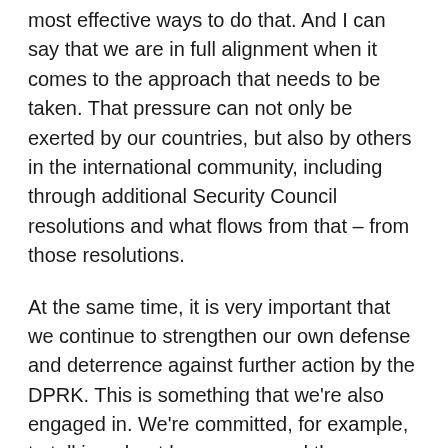most effective ways to do that. And I can say that we are in full alignment when it comes to the approach that needs to be taken. That pressure can not only be exerted by our countries, but also by others in the international community, including through additional Security Council resolutions and what flows from that – from those resolutions.
At the same time, it is very important that we continue to strengthen our own defense and deterrence against further action by the DPRK. This is something that we're also engaged in. We're committed, for example, to talking about how we expand the scope and scale of combined military exercises for defensive and preparedness purposes, training on and around the Korean Peninsula.